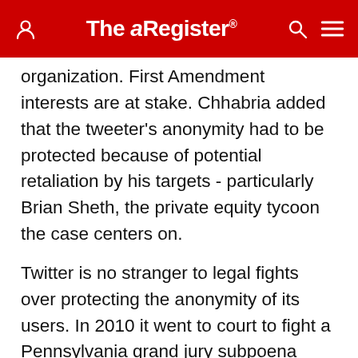The Register
organization. First Amendment interests are at stake. Chhabria added that the tweeter's anonymity had to be protected because of potential retaliation by his targets - particularly Brian Sheth, the private equity tycoon the case centers on.
Twitter is no stranger to legal fights over protecting the anonymity of its users. In 2010 it went to court to fight a Pennsylvania grand jury subpoena request to turn over the identities of two users who had made critical comments about Pennsylvania's Attorney General; that subpoena was later withdrawn.
Twitter also got caught in 2019 "accidentally" giving personal information about its users to advertisers, specifically email addresses and phone numbers used